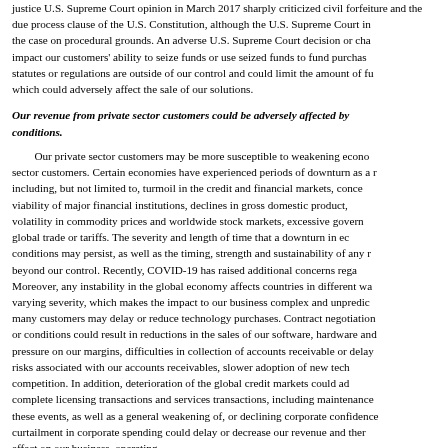justice U.S. Supreme Court opinion in March 2017 sharply criticized civil forfeiture and the due process clause of the U.S. Constitution, although the U.S. Supreme Court in that case decided the case on procedural grounds. An adverse U.S. Supreme Court decision or changes to applicable statutes or regulations are outside of our control and could limit the amount of funds seized, which could adversely affect the sale of our solutions.
Our revenue from private sector customers could be adversely affected by economic conditions.
Our private sector customers may be more susceptible to weakening economic conditions than government sector customers. Certain economies have experienced periods of downturn as a result of factors including, but not limited to, turmoil in the credit and financial markets, concerns about the viability of major financial institutions, declines in gross domestic product, inflation, volatility in commodity prices and worldwide stock markets, excessive government debt levels, global trade or tariffs. The severity and length of time that a downturn in economic conditions may persist, as well as the timing, strength and sustainability of any recovery, are largely beyond our control. Recently, COVID-19 has raised additional concerns regarding these factors. Moreover, any instability in the global economy affects countries in different ways and with varying severity, which makes the impact to our business complex and unpredictable. As a result, many customers may delay or reduce technology purchases. Contract negotiations may become more difficult, or conditions could result in reductions in the sales of our software, hardware and services, increased pressure on our margins, difficulties in collection of accounts receivable or delays in collection, increased risks associated with our accounts receivables, slower adoption of new technologies and increased competition. In addition, deterioration of the global credit markets could adversely impact our ability to complete licensing transactions and services transactions, including maintenance renewals. Any of these events, as well as a general weakening of, or declining corporate confidence in, the global economy or a curtailment in corporate spending could delay or decrease our revenue and therefore have a material adverse effect on our business, operating